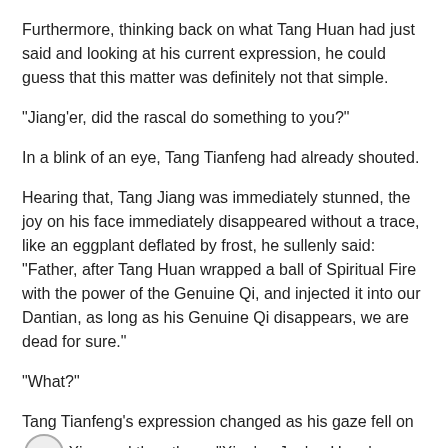Furthermore, thinking back on what Tang Huan had just said and looking at his current expression, he could guess that this matter was definitely not that simple.
"Jiang'er, did the rascal do something to you?"
In a blink of an eye, Tang Tianfeng had already shouted.
Hearing that, Tang Jiang was immediately stunned, the joy on his face immediately disappeared without a trace, like an eggplant deflated by frost, he sullenly said: "Father, after Tang Huan wrapped a ball of Spiritual Fire with the power of the Genuine Qi, and injected it into our Dantian, as long as his Genuine Qi disappears, we are dead for sure."
"What?"
Tang Tianfeng's expression changed as his gaze fell on Xing and the others, "Xing'er, Jun'er, Hong'er, what about you guys, are you in a similar situation as well?"
"Dad, everyone is the same."